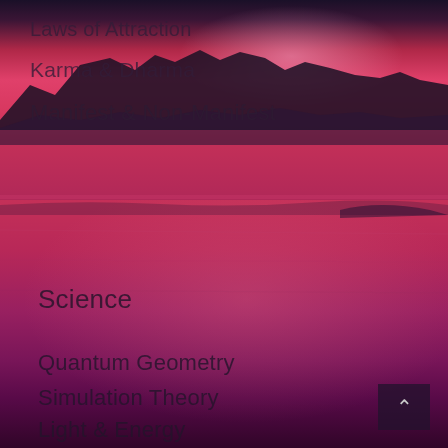[Figure (photo): Scenic sunset/dusk landscape photo of a lake with mountains silhouetted against a vivid pink and purple sky, water reflecting the colors below]
Laws of Attraction
Karma & Dharma
Manifest & Non-Manifest
Science
Quantum Geometry
Simulation Theory
Light & Energy
The Aether